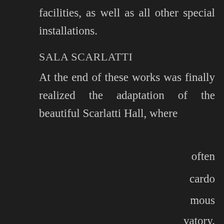facilities, as well as all other special installations.
SALA SCARLATTI
At the end of these works was finally realized the adaptation of the beautiful Scarlatti Hall, where it ... often ... cardo ... mous ... vatory.
We use cookies on our website to give you the most relevant experience by remembering your preferences. Read All -